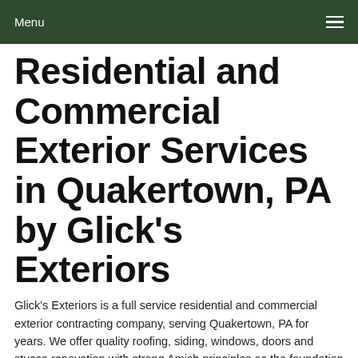Menu
Residential and Commercial Exterior Services in Quakertown, PA by Glick's Exteriors
Glick's Exteriors is a full service residential and commercial exterior contracting company, serving Quakertown, PA for years. We offer quality roofing, siding, windows, doors and stucco renovation with strong Amish principles as the foundation of our company. We still stick true to our quality craftsmanship and strong family values